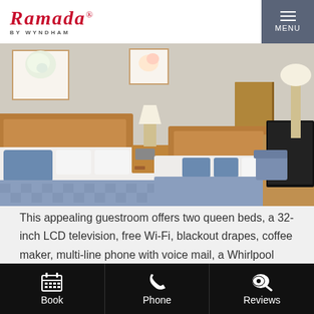Ramada by Wyndham — MENU
[Figure (photo): Hotel guestroom with two queen beds featuring blue and white bedding, a flat-screen TV on a wooden dresser, lamps, artwork on the walls, and a door to the bathroom/hallway.]
This appealing guestroom offers two queen beds, a 32-inch LCD television, free Wi-Fi, blackout drapes, coffee maker, multi-line phone with voice mail, a Whirlpool tub, and a view of the bridge.
Book   Phone   Reviews